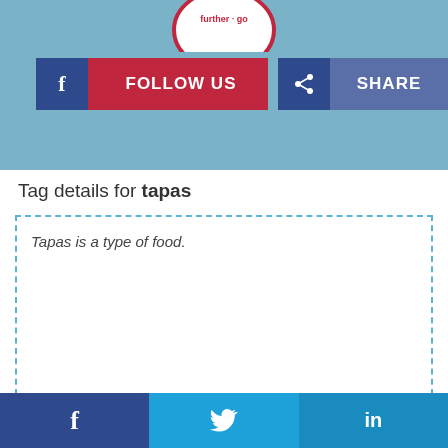[Figure (logo): Circular logo with text 'further go' in red on white background, partially cropped at top]
[Figure (infographic): Two social media buttons: FOLLOW US (Facebook, blue and red) and SHARE (blue)]
Tag details for tapas
Tapas is a type of food.
[Figure (infographic): Footer bar with three social media icons: Facebook (dark blue), Twitter (light blue), LinkedIn (blue)]